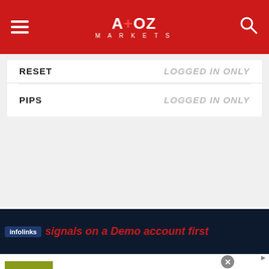[Figure (logo): A+OZ Markets logo on red header bar with hamburger menu and search icon]
RESET
LOGGED IN ONLY
PIPS
LOGGED IN ONLY
[Figure (screenshot): Dark navy background section with infolinks badge and text 'signals on a Demo account first' in red italic]
[Figure (screenshot): Advertisement banner: FR logo (olive green), Best Forex Brokers for profitable trading, forex-ratings.com, with blue arrow button and close X button]